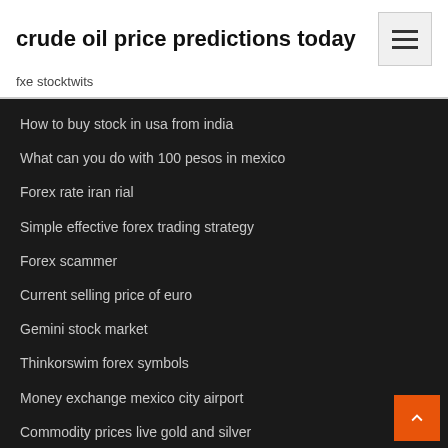crude oil price predictions today
fxe stocktwits
How to buy stock in usa from india
What can you do with 100 pesos in mexico
Forex rate iran rial
Simple effective forex trading strategy
Forex scammer
Current selling price of euro
Gemini stock market
Thinkorswim forex symbols
Money exchange mexico city airport
Commodity prices live gold and silver